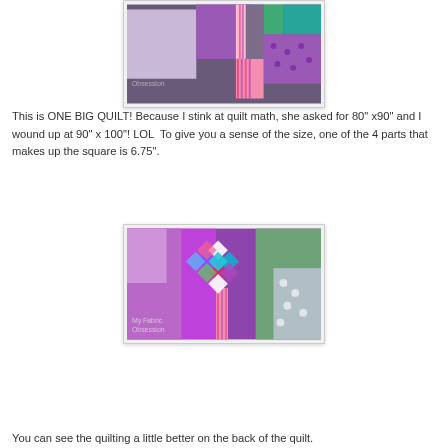[Figure (photo): Close-up of a large purple and multicolor quilt laid outdoors, showing various fabric patterns including polka dots, stripes, and solid sections. Watermark reads 'My Fabric Obsession'.]
This is ONE BIG QUILT! Because I stink at quilt math, she asked for 80" x90" and I wound up at 90" x 100"! LOL  To give you a sense of the size, one of the 4 parts that makes up the square is 6.75".
[Figure (photo): Close-up of a large purple and multicolor quilt laid outdoors showing quilting detail and various fabric patterns. Watermark reads 'My Fabric Obsession'.]
You can see the quilting a little better on the back of the quilt.